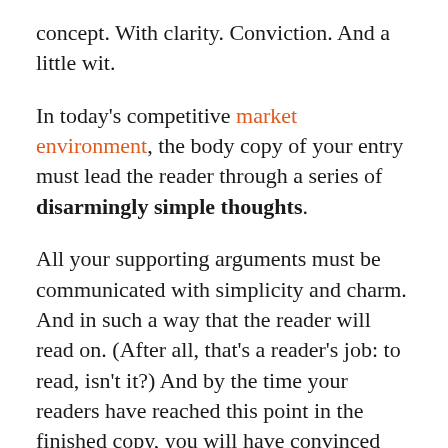concept. With clarity. Conviction. And a little wit.
In today's competitive market environment, the body copy of your entry must lead the reader through a series of disarmingly simple thoughts.
All your supporting arguments must be communicated with simplicity and charm. And in such a way that the reader will read on. (After all, that's a reader's job: to read, isn't it?) And by the time your readers have reached this point in the finished copy, you will have convinced them that you not only respect their intelligence, but you also understand their needs as consumers.
As a result of which, your entry will repay your efforts. Take your sales; simply put, they will rise. Likewise